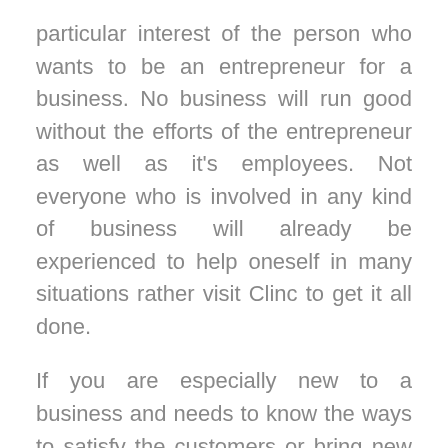particular interest of the person who wants to be an entrepreneur for a business. No business will run good without the efforts of the entrepreneur as well as it's employees. Not everyone who is involved in any kind of business will already be experienced to help oneself in many situations rather visit Clinc to get it all done.
If you are especially new to a business and needs to know the ways to satisfy the customers or bring new ones into it very easily. They are as follows,